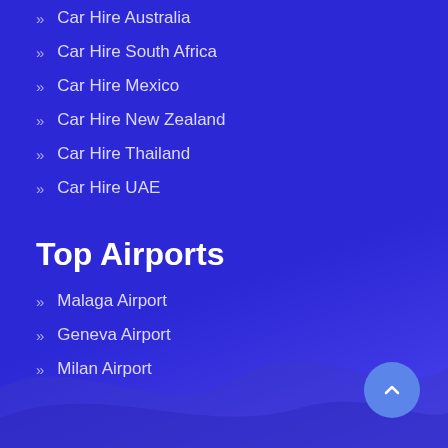Car Hire Australia
Car Hire South Africa
Car Hire Mexico
Car Hire New Zealand
Car Hire Thailand
Car Hire UAE
Top Airports
Malaga Airport
Geneva Airport
Milan Airport